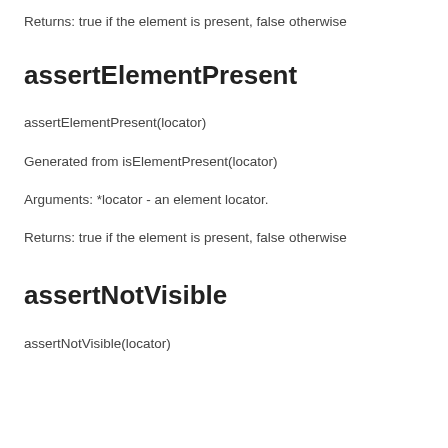Returns: true if the element is present, false otherwise
assertElementPresent
assertElementPresent(locator)
Generated from isElementPresent(locator)
Arguments: *locator - an element locator.
Returns: true if the element is present, false otherwise
assertNotVisible
assertNotVisible(locator)